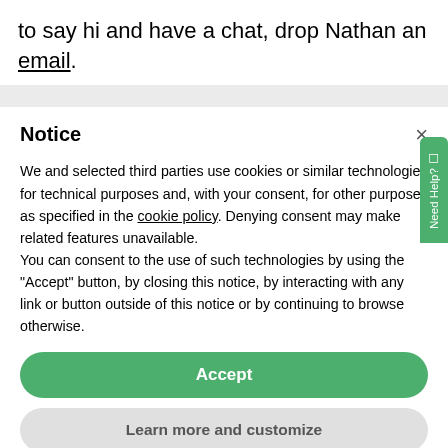to say hi and have a chat, drop Nathan an email.
Notice
We and selected third parties use cookies or similar technologies for technical purposes and, with your consent, for other purposes as specified in the cookie policy. Denying consent may make related features unavailable.
You can consent to the use of such technologies by using the "Accept" button, by closing this notice, by interacting with any link or button outside of this notice or by continuing to browse otherwise.
Accept
Learn more and customize